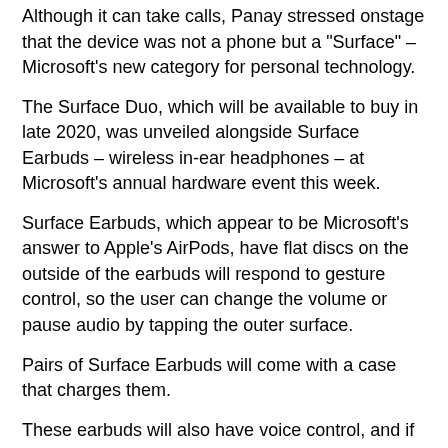Although it can take calls, Panay stressed onstage that the device was not a phone but a "Surface" – Microsoft's new category for personal technology.
The Surface Duo, which will be available to buy in late 2020, was unveiled alongside Surface Earbuds – wireless in-ear headphones – at Microsoft's annual hardware event this week.
Surface Earbuds, which appear to be Microsoft's answer to Apple's AirPods, have flat discs on the outside of the earbuds will respond to gesture control, so the user can change the volume or pause audio by tapping the outer surface.
Pairs of Surface Earbuds will come with a case that charges them.
These earbuds will also have voice control, and if they have an Office 365 subscription the Surface